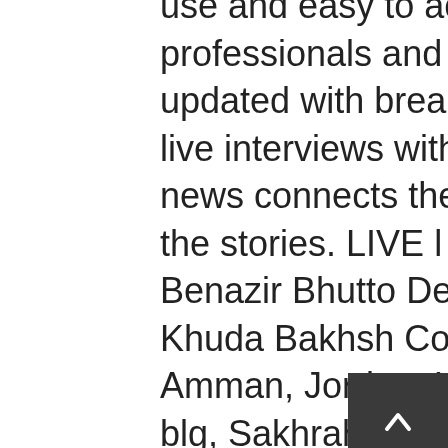use and easy to access for medical professionals and their patients alike. Stay updated with breaking news and exclusive live interviews with Roya on mid-day. Roya news connects the dots to connect you to the stories. LIVE l PDM Larkana Jalsa | Benazir Bhutto Death Anniversary At Garhi Khuda Bakhsh Contact Us Roya offices in Amman, Jordan, Um Al-Heran, Media city blg, Sakhrah Mosharfeh st., next to the Radio and television Inc. "What happened today is... the turning of the page on all points of difference and a full return of diplomatic relations," Prince Faisal bin Farhan at the Gulf ... 0096264206419: هاتف رقم Tauch ein in die Geschichten aus der Welt der Royals und Adligen. Roya Kids. Roya is a new satellite channel, transmitting from Amman, Jordan, and joining the larger media package of the Sayegh Group. Roya :Find
[Figure (other): Dark gray square scroll-to-top button with upward arrow icon]